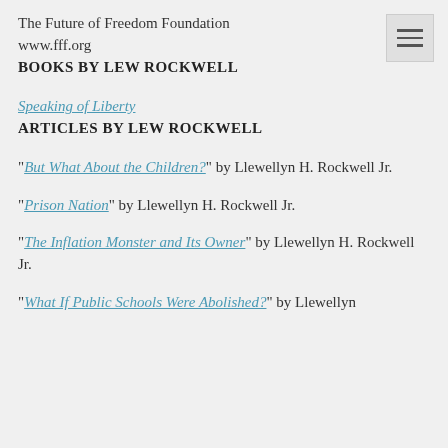The Future of Freedom Foundation
www.fff.org
BOOKS BY LEW ROCKWELL
Speaking of Liberty
ARTICLES BY LEW ROCKWELL
"But What About the Children?" by Llewellyn H. Rockwell Jr.
"Prison Nation" by Llewellyn H. Rockwell Jr.
"The Inflation Monster and Its Owner" by Llewellyn H. Rockwell Jr.
"What If Public Schools Were Abolished?" by Llewellyn